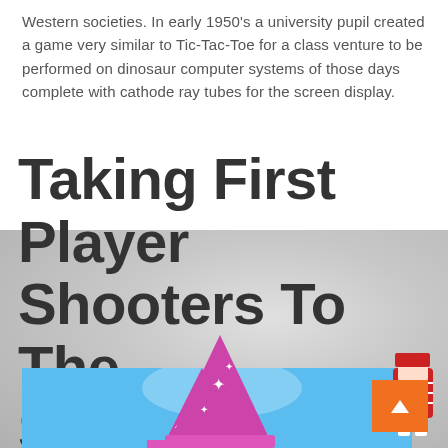Western societies. In early 1950's a university pupil created a game very similar to Tic-Tac-Toe for a class venture to be performed on dinosaur computer systems of those days complete with cathode ray tubes for the screen display.
Taking First Player Shooters To The Subsequent Degree
[Figure (illustration): A bokeh blurred grey background with a blue sky scene below showing a pink/purple wizard hat with stars and a decorated character figure on the right edge, with an orange scroll-to-top button.]